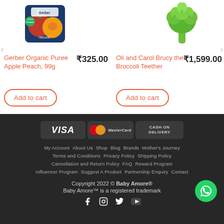[Figure (photo): Gerber Organic Puree Apple Peach baby food product image]
₹325.00
Gerber Organic Puree Apple Peach, 99g
[Figure (photo): Oli and Carol Brucy the Broccoli Teether product image - green teether shaped like broccoli]
₹1,599.00
Oli and Carol Brucy the Broccoli Teether
Add to cart
Add to cart
[Figure (logo): Payment icons: VISA, MasterCard, Cash on Delivery]
My Account   About Us   Shop   Blog   Brands   Mother's Journey   Terms and Conditions   Privacy Policy   Shipping Policy   Cancellation and Return Policy   FAQ   Reward Program   Influencer Program   Suggest A Product   Partnership Enquiry   Contact
Copyright 2022 © Baby Amore®
Baby Amore™ is a registered trademark